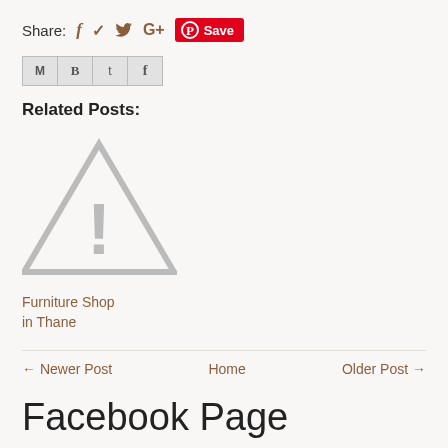Share: f  tw  G+  Save
[Figure (other): Social sharing icon buttons: Gmail (M), Blogger (B), Twitter (t), Facebook (f)]
Related Posts:
[Figure (other): Warning triangle placeholder image with exclamation mark]
Furniture Shop in Thane
← Newer Post   Home   Older Post →
Facebook Page
Advertise with us